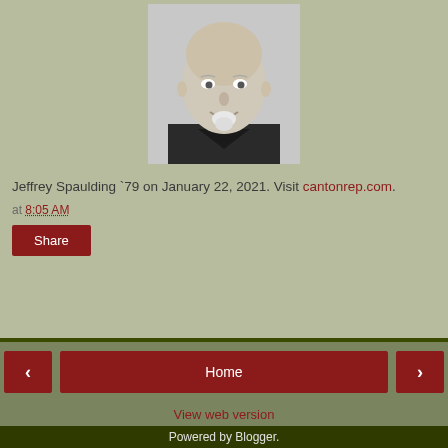[Figure (photo): Black and white headshot photo of an older bald man with a white goatee, wearing a dark jacket, smiling slightly.]
Jeffrey Spaulding `79 on January 22, 2021. Visit cantonrep.com.
at 8:05 AM
Share
Home
View web version
Powered by Blogger.